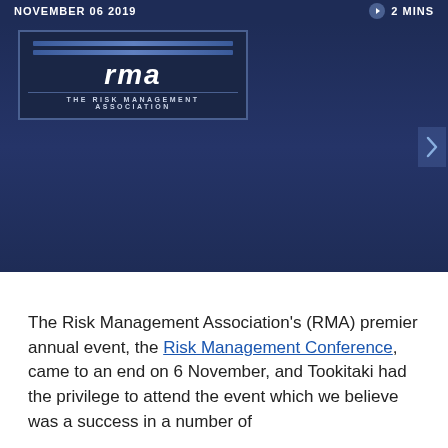NOVEMBER 06 2019   2 MINS
[Figure (photo): Dark blue stage background with RMA (The Risk Management Association) logo/banner visible on the left side. The background is deep navy blue with subtle lighting.]
The Risk Management Association's (RMA) premier annual event, the Risk Management Conference, came to an end on 6 November, and Tookitaki had the privilege to attend the event which we believe was a success in a number of